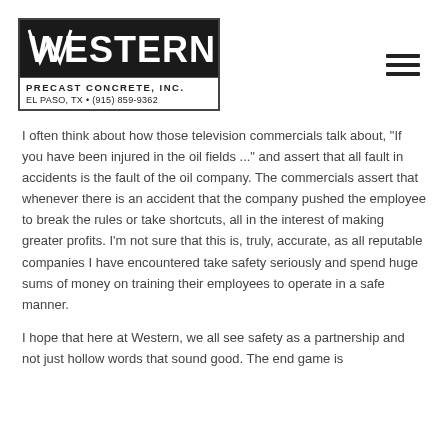[Figure (logo): Western Precast Concrete, Inc. logo with black top bar and company name, El Paso TX contact info below]
I often think about how those television commercials talk about, "If you have been injured in the oil fields ..." and assert that all fault in accidents is the fault of the oil company. The commercials assert that whenever there is an accident that the company pushed the employee to break the rules or take shortcuts, all in the interest of making greater profits. I'm not sure that this is, truly, accurate, as all reputable companies I have encountered take safety seriously and spend huge sums of money on training their employees to operate in a safe manner.
I hope that here at Western, we all see safety as a partnership and not just hollow words that sound good. The end game is